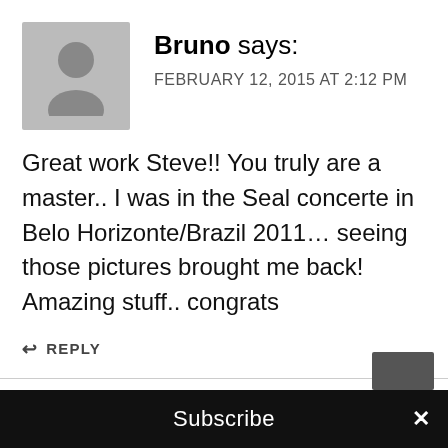[Figure (illustration): Gray avatar placeholder image showing a silhouette of a person]
Bruno says:
FEBRUARY 12, 2015 AT 2:12 PM
Great work Steve!! You truly are a master.. I was in the Seal concerte in Belo Horizonte/Brazil 2011… seeing those pictures brought me back! Amazing stuff.. congrats
↩ REPLY
Subscribe